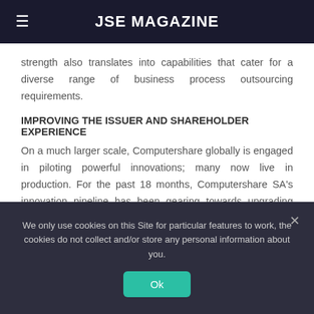JSE MAGAZINE
strength also translates into capabilities that cater for a diverse range of business process outsourcing requirements.
IMPROVING THE ISSUER AND SHAREHOLDER EXPERIENCE
On a much larger scale, Computershare globally is engaged in piloting powerful innovations; many now live in production. For the past 18 months, Computershare SA's innovation pipeline has been gearing towards upgrading existing channels and providing greater shareholder access to smart technology. New innovations coming to the fore enhance the issuer and shareholder experience.
We only use cookies on this Site for particular features to work, the cookies do not collect and/or store any personal information about you.